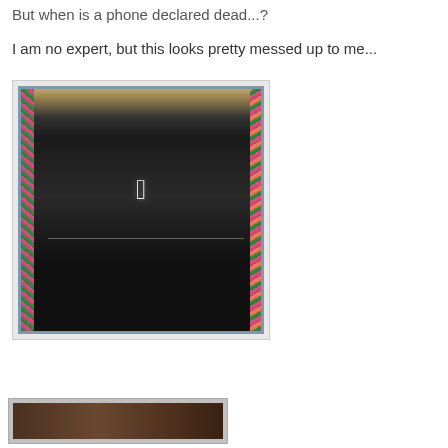But when is a phone declared dead...?
I am no expert, but this looks pretty messed up to me...
[Figure (photo): Photo of an iPhone showing a cracked screen with the Apple logo visible on a dark screen. The phone is positioned between colorful floral fabric on the left and right sides, with a room reflection visible at the top of the screen.]
[Figure (photo): Partial view of another photo at the bottom of the page, showing a dark brown object, likely another damaged phone.]